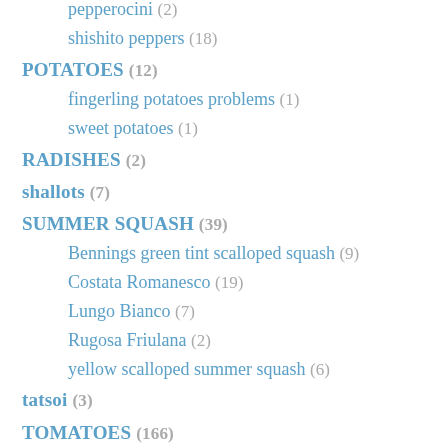pepperocini (2)
shishito peppers (18)
POTATOES (12)
fingerling potatoes problems (1)
sweet potatoes (1)
RADISHES (2)
shallots (7)
SUMMER SQUASH (39)
Bennings green tint scalloped squash (9)
Costata Romanesco (19)
Lungo Bianco (7)
Rugosa Friulana (2)
yellow scalloped summer squash (6)
tatsoi (3)
TOMATOES (166)
Dwarf Tomato Project (3)
Dwarf tomatoes (3)
tomato blossom drop (2)
WINTER SQUASH (21)
Butternut Rugosa (4)